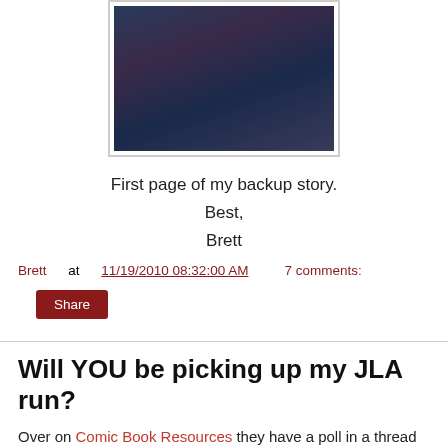[Figure (illustration): A comic book style illustration showing a dark-toned figure with white/silver swirling elements, purple accents, and dramatic composition. Partial view cropped at top.]
First page of my backup story.
Best,
Brett
Brett at 11/19/2010 08:32:00 AM   7 comments:
Share
Will YOU be picking up my JLA run?
Over on Comic Book Resources they have a poll in a thread about me 'taking over' (I don't consider 4 issues 'taking over'